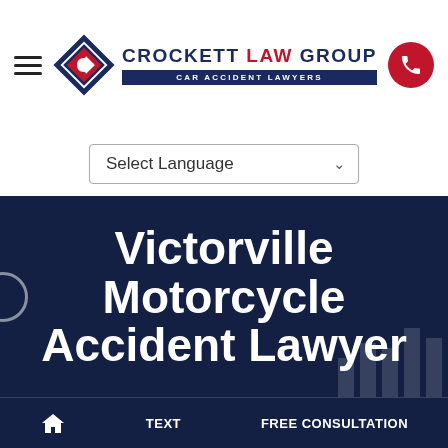Crockett LAW GROUP - CAR ACCIDENT LAWYERS
Select Language
Victorville Motorcycle Accident Lawyer
HOME   TEXT   FREE CONSULTATION